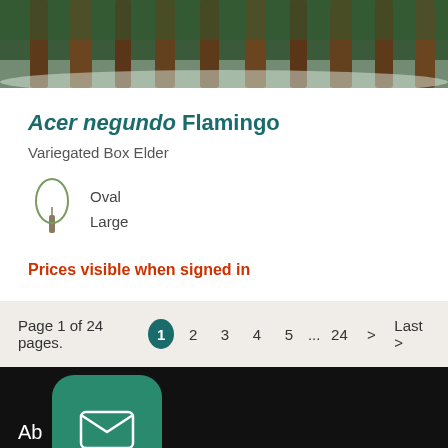[Figure (photo): Forest of tall trees with snow on the ground and green foliage in the background]
Acer negundo Flamingo
Variegated Box Elder
[Figure (illustration): Tree shape icon showing oval form]
Oval
Large
Prices visible when signed in
Page 1 of 24 pages.  1  2  3  4  5  ...  24  >  Last >
Ab  s
Home